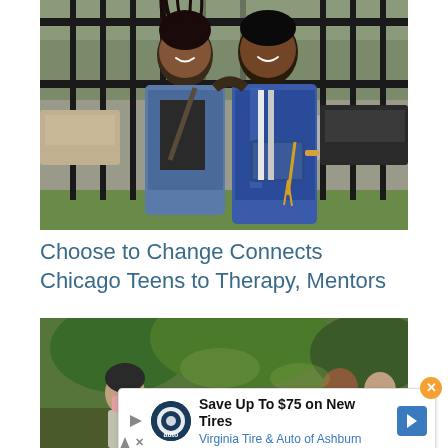[Figure (photo): Two young Black men posing in front of iron fence railings. The person on the right is wearing a blue graduation gown and holding a blue diploma folder with a gold tassel. The person on the left is wearing a denim jacket over a graphic t-shirt with a crossbody bag. Cars are parked in the background.]
Choose to Change Connects Chicago Teens to Therapy, Mentors
[Figure (photo): Outdoor scene with people in a green, tree-filled setting. A woman wearing a face mask in foreground left, other people visible in the background right.]
[Figure (infographic): Advertisement banner: 'Save Up To $75 on New Tires — Virginia Tire & Auto of Ashburn' with a tire/auto logo circle, blue navigation arrow icon, and orange close (X) button. Ad attribution triangle and X mark visible.]